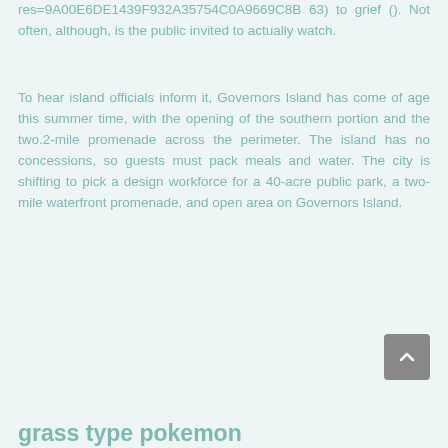res=9A00E6DE1439F932A35754C0A9669C8B 63) to grief (). Not often, although, is the public invited to actually watch.
To hear island officials inform it, Governors Island has come of age this summer time, with the opening of the southern portion and the two.2-mile promenade across the perimeter. The island has no concessions, so guests must pack meals and water. The city is shifting to pick a design workforce for a 40-acre public park, a two-mile waterfront promenade, and open area on Governors Island.
grass type pokemon